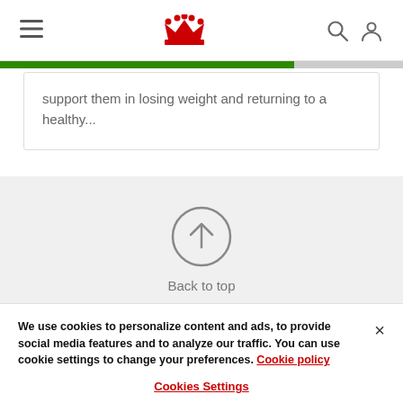Royal Canin navigation header with hamburger menu, crown logo, search and account icons
support them in losing weight and returning to a healthy...
[Figure (illustration): Circular button with upward arrow icon labeled 'Back to top' on a light grey background]
Back to top
We use cookies to personalize content and ads, to provide social media features and to analyze our traffic. You can use cookie settings to change your preferences. Cookie policy
Cookies Settings